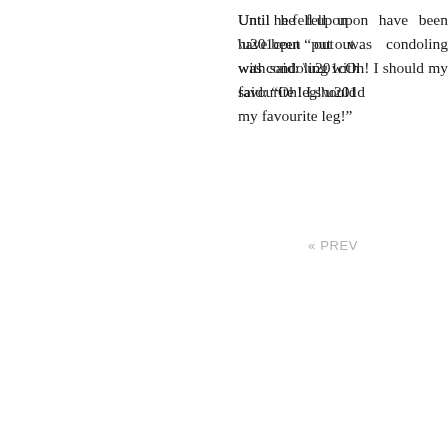Until he fell upon have been “put out was condoling with said: “Oh! I should my favourite leg!”
« PREV